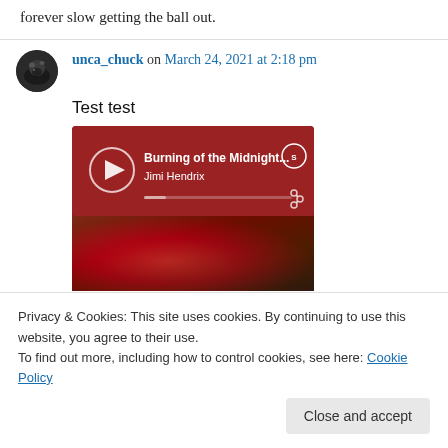forever slow getting the ball out.
unca_chuck on March 24, 2021 at 2:18 pm
Test test
[Figure (screenshot): Spotify embedded player showing 'Burning of the Midnight...' by Jimi Hendrix with a play button, progress bar, share icon, Spotify logo, and partial album artwork on a dark red background.]
Privacy & Cookies: This site uses cookies. By continuing to use this website, you agree to their use.
To find out more, including how to control cookies, see here: Cookie Policy